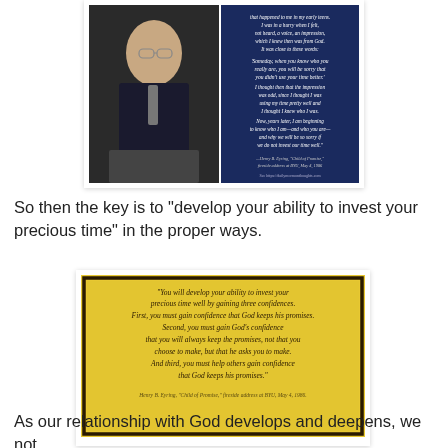[Figure (illustration): Photo of an older man in a dark suit speaking at a podium on the left, combined with a blue-background quote card on the right containing italic text about investing time, attributed to Henry B. Eyring, 'Child of Promise,' fireside address at BYU, May 4, 1986.]
So then the key is to "develop your ability to invest your precious time" in the proper ways.
[Figure (illustration): Yellow background quote card with italic text: "You will develop your ability to invest your precious time well by gaining three confidences. First, you must gain confidence that God keeps his promises. Second, you must gain God's confidence that you will always keep the promises, not that you choose to make, but that he asks you to make. And third, you must help others gain confidence that God keeps his promises." Attributed to Henry B. Eyring, 'Child of Promise,' fireside address at BYU, May 4, 1986.]
As our relationship with God develops and deepens, we not